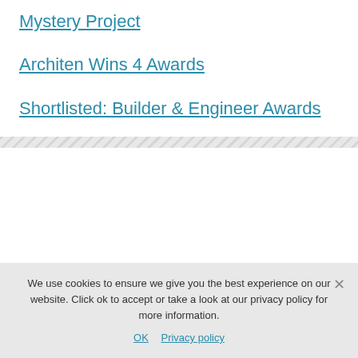Mystery Project
Architen Wins 4 Awards
Shortlisted: Builder & Engineer Awards
[Figure (screenshot): By topic dropdown button in teal/cyan color with dropdown arrow]
[Figure (screenshot): Search input field in teal/cyan color with search icon]
We use cookies to ensure we give you the best experience on our website. Click ok to accept or take a look at our privacy policy for more information.
OK  Privacy policy